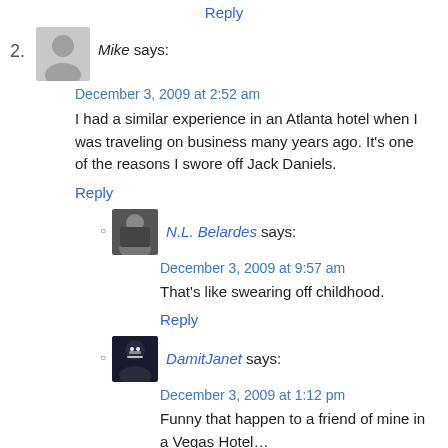Reply
2. Mike says:
December 3, 2009 at 2:52 am
I had a similar experience in an Atlanta hotel when I was traveling on business many years ago. It's one of the reasons I swore off Jack Daniels.
Reply
[Figure (photo): Avatar photo of N.L. Belardes]
N.L. Belardes says:
December 3, 2009 at 9:57 am
That's like swearing off childhood.
Reply
[Figure (photo): Avatar photo of DamitJanet]
DamitJanet says:
December 3, 2009 at 1:12 pm
Funny that happen to a friend of mine in a Vegas Hotel…
Reply